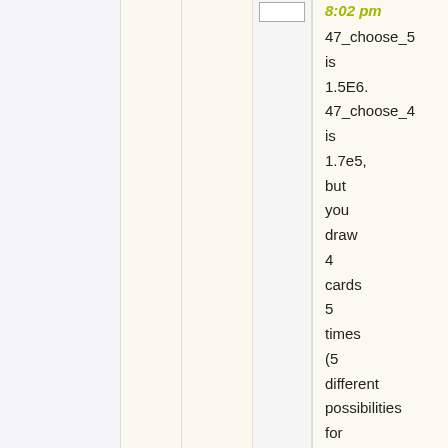8:02 pm
47_choose_5 is 1.5E6. 47_choose_4 is 1.7e5, but you draw 4 cards 5 times (5 different possibilities for holding one